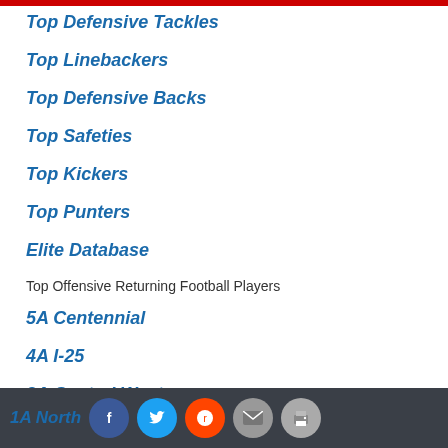Top Defensive Tackles
Top Linebackers
Top Defensive Backs
Top Safeties
Top Kickers
Top Punters
Elite Database
Top Offensive Returning Football Players
5A Centennial
4A I-25
3A Central West
2A Southwest
1A North
Social sharing icons: Facebook, Twitter, Reddit, Email, Print